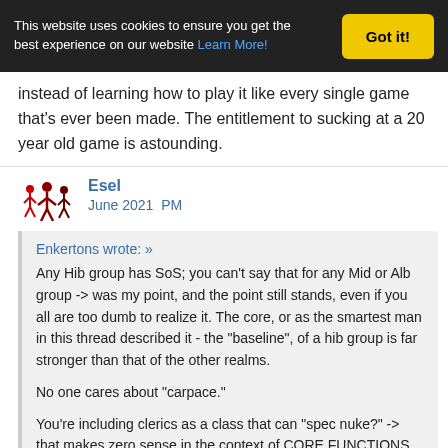This website uses cookies to ensure you get the best experience on our website Learn More! Got it!
instead of learning how to play it like every single game that's ever been made. The entitlement to sucking at a 20 year old game is astounding.
Esel
June 2021  PM
Enkertons wrote: »
Any Hib group has SoS; you can't say that for any Mid or Alb group -> was my point, and the point still stands, even if you all are too dumb to realize it. The core, or as the smartest man in this thread described it - the "baseline", of a hib group is far stronger than that of the other realms.

No one cares about "carpace."

You're including clerics as a class that can "spec nuke?" -> that makes zero sense in the context of CORE FUNCTIONS in a group setting as that would leave the Alb group without purple